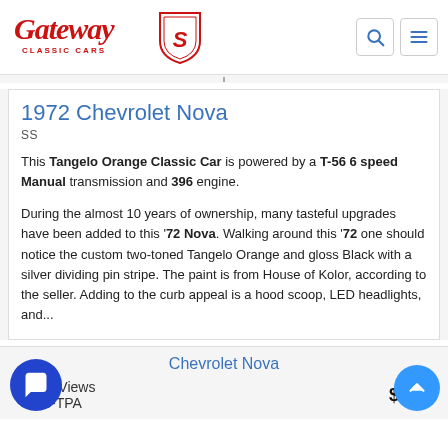Gateway Classic Cars
1972 Chevrolet Nova
SS
This Tangelo Orange Classic Car is powered by a T-56 6 speed Manual transmission and 396 engine.
During the almost 10 years of ownership, many tasteful upgrades have been added to this '72 Nova. Walking around this '72 one should notice the custom two-toned Tangelo Orange and gloss Black with a silver dividing pin stripe. The paint is from House of Kolor, according to the seller. Adding to the curb appeal is a hood scoop, LED headlights, and...
Chevrolet Nova
Page Views
215-TPA
$66,0